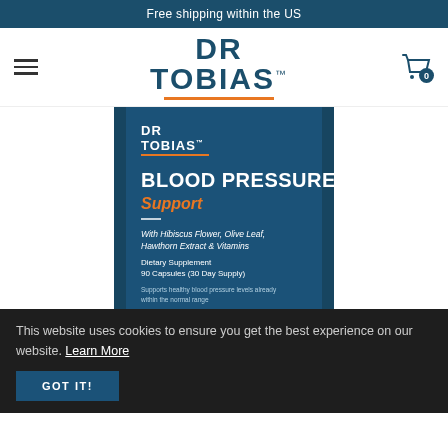Free shipping within the US
[Figure (logo): DR TOBIAS brand logo with orange underline and hamburger menu on left, cart icon with 0 badge on right]
[Figure (photo): Dr Tobias Blood Pressure Support supplement bottle/box label showing product name, ingredients (Hibiscus Flower, Olive Leaf, Hawthorn Extract & Vitamins), 90 capsules 30 day supply dietary supplement]
This website uses cookies to ensure you get the best experience on our website. Learn More
GOT IT!